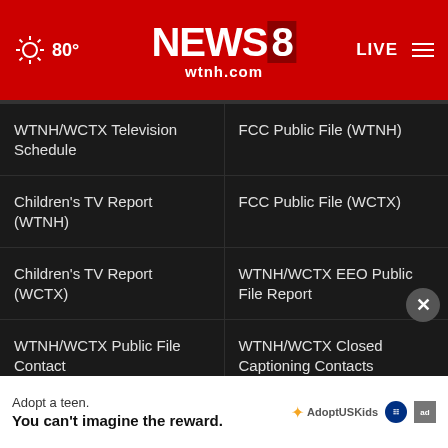NEWS 8 wtnh.com — 80° — LIVE
WTNH/WCTX Television Schedule
FCC Public File (WTNH)
Children's TV Report (WTNH)
FCC Public File (WCTX)
Children's TV Report (WCTX)
WTNH/WCTX EEO Public File Report
WTNH/WCTX Public File Contact
WTNH/WCTX Closed Captioning Contacts
Jobs at WTNH/WCTX
Intern At News 8
Privacy Policy
Terms Of Use
Do Not
Information
[Figure (infographic): AdoptUS Kids advertisement banner: 'Adopt a teen. You can't imagine the reward.' with AdoptUS Kids logo, HHS badge, and ad badge.]